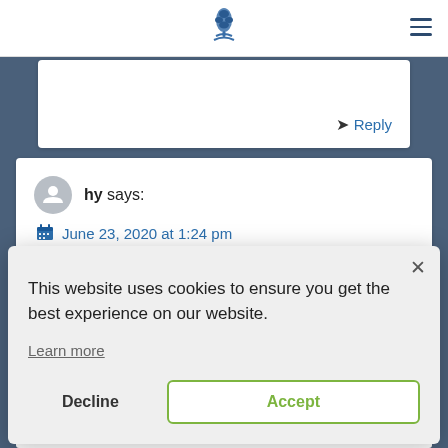[Figure (logo): Blue pine cone / tree logo icon in the center of the top navigation bar]
Reply
hy says:
June 23, 2020 at 1:24 pm
This website uses cookies to ensure you get the best experience on our website.
Learn more
Decline
Accept
Bardzo trudno dzis sluchac podkastow Macze